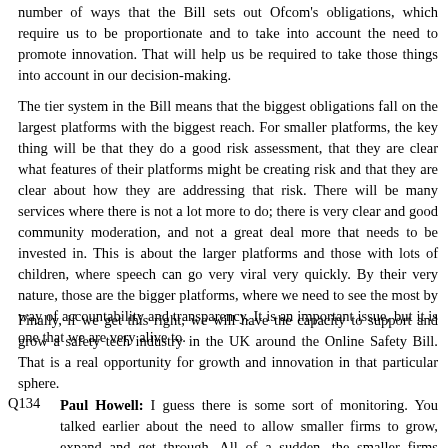number of ways that the Bill sets out Ofcom's obligations, which require us to be proportionate and to take into account the need to promote innovation. That will help us be required to take those things into account in our decision-making.
The tier system in the Bill means that the biggest obligations fall on the largest platforms with the biggest reach. For smaller platforms, the key thing will be that they do a good risk assessment, that they are clear what features of their platforms might be creating risk and that they are clear about how they are addressing that risk. There will be many services where there is not a lot more to do; there is very clear and good community moderation, and not a great deal more that needs to be invested in. This is about the larger platforms and those with lots of children, where speech can go very viral very quickly. By their very nature, those are the bigger platforms, where we need to see the most by way of accountability and transparency. It is an important issue, but it is one that we are very alive to.
Finally, if we get this right, we will have the capacity to support and grow a safety tech industry in the UK around the Online Safety Bill. That is a real opportunity for growth and innovation in that particular sphere.
Q134	Paul Howell: I guess there is some sort of monitoring. You talked earlier about the need to allow smaller firms to grow, expand and get through. All of a sudden, the smaller firms become the medium and the medium-sized fall down on the